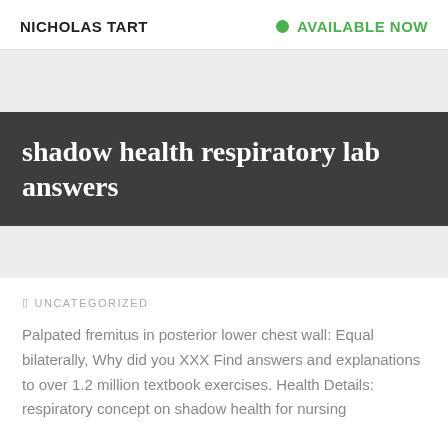NICHOLAS TART
AVAILABLE NOW
shadow health respiratory lab answers
UNCATEGORIZED
Palpated fremitus in posterior lower chest wall: Equal bilaterally, Why did you XXX Find answers and explanations to over 1.2 million textbook exercises. Health Details: respiratory concept on shadow health for nursing